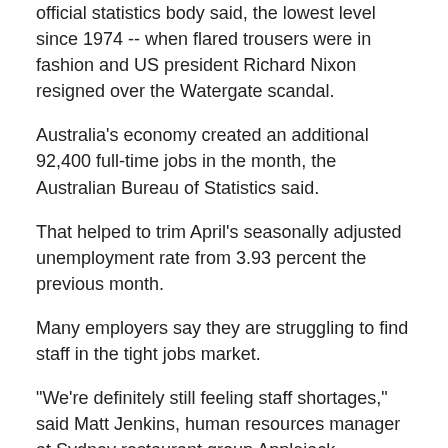official statistics body said, the lowest level since 1974 -- when flared trousers were in fashion and US president Richard Nixon resigned over the Watergate scandal.
Australia's economy created an additional 92,400 full-time jobs in the month, the Australian Bureau of Statistics said.
That helped to trim April's seasonally adjusted unemployment rate from 3.93 percent the previous month.
Many employers say they are struggling to find staff in the tight jobs market.
"We're definitely still feeling staff shortages," said Matt Jenkins, human resources manager at Sydney restaurant group Applejack Hospitality.
"I know for chefs, they can have multiple job offers at a time. And even candidates that we're speaking to, they're sitting on offers for weeks while they still canvass the market," he told AFP.
Bosco Crawford, owner of Eden Restaurant and B...